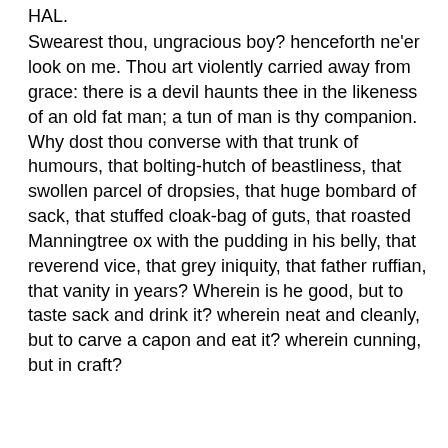HAL.
Swearest thou, ungracious boy? henceforth ne'er look on me. Thou art violently carried away from grace: there is a devil haunts thee in the likeness of an old fat man; a tun of man is thy companion. Why dost thou converse with that trunk of humours, that bolting-hutch of beastliness, that swollen parcel of dropsies, that huge bombard of sack, that stuffed cloak-bag of guts, that roasted Manningtree ox with the pudding in his belly, that reverend vice, that grey iniquity, that father ruffian, that vanity in years? Wherein is he good, but to taste sack and drink it? wherein neat and cleanly, but to carve a capon and eat it? wherein cunning, but in craft?